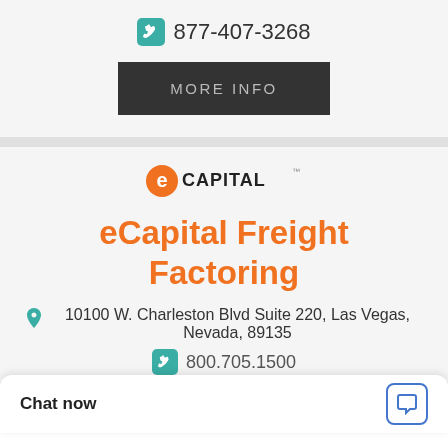877-407-3268
MORE INFO
[Figure (logo): eCapital logo with orange circle-e icon and CAPITAL text]
eCapital Freight Factoring
10100 W. Charleston Blvd Suite 220, Las Vegas, Nevada, 89135
800.705.1500
Chat now